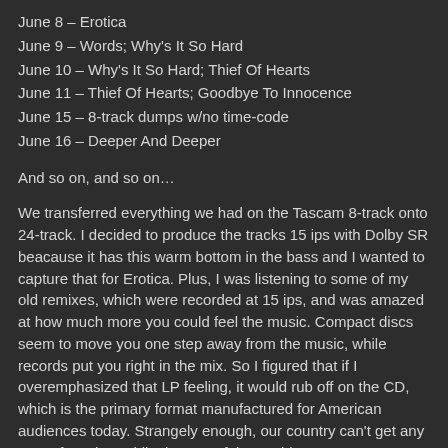June 8 – Erotica
June 9 – Words; Why's It So Hard
June 10 – Why's It So Hard; Thief Of Hearts
June 11 – Thief Of Hearts; Goodbye To Innocence
June 15 – 8-track dumps w/no time-code
June 16 – Deeper And Deeper
And so on, and so on…
We transferred everything we had on the Tascam 8-track onto 24-track. I decided to produce the tracks 15 ips with Dolby SR beacause it has this warm bottom in the bass and I wanted to capture that for Erotica. Plus, I was listening to some of my old remixes, which were recorded at 15 ips, and was amazed at how much more you could feel the music. Compact discs seem to move you one step away from the music, while records put you right in the mix. So I figured that if I overemphasized that LP feeling, it would rub off on the CD, which is the primary format manufactured for American audiences today. Strangely enough, our country can't get any LP's of Erotica, while the rest of the world can.
On July 7, we did the mixing for Erotic the ode to S & M that Madonna wanted to include in her book, Sex. She felt it should sound the same as Erotica (the song on the album), with just a bass line, her voice and